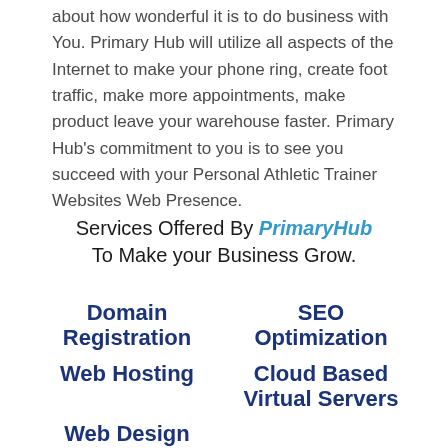about how wonderful it is to do business with You. Primary Hub will utilize all aspects of the Internet to make your phone ring, create foot traffic, make more appointments, make product leave your warehouse faster. Primary Hub's commitment to you is to see you succeed with your Personal Athletic Trainer Websites Web Presence.
Services Offered By PrimaryHub To Make your Business Grow.
Domain Registration
SEO Optimization
Web Hosting
Cloud Based Virtual Servers
Web Design